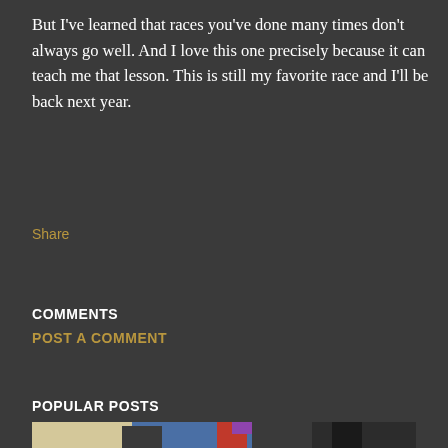But I've learned that races you've done many times don't always go well. And I love this one precisely because it can teach me that lesson. This is still my favorite race and I'll be back next year.
Share
COMMENTS
POST A COMMENT
POPULAR POSTS
[Figure (photo): A photo showing what appears to be sports/racing equipment including colorful items near a wall or doorway with blue and cream/yellow colors.]